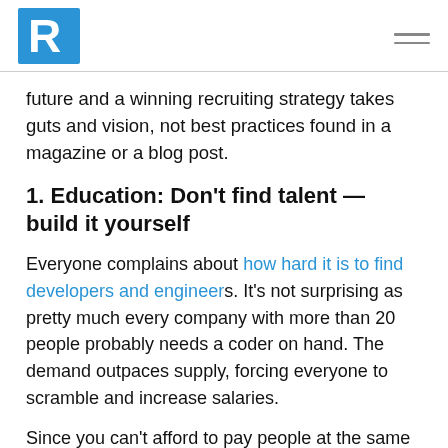R [logo]
future and a winning recruiting strategy takes guts and vision, not best practices found in a magazine or a blog post.
1. Education: Don't find talent — build it yourself
Everyone complains about how hard it is to find developers and engineers. It's not surprising as pretty much every company with more than 20 people probably needs a coder on hand. The demand outpaces supply, forcing everyone to scramble and increase salaries.
Since you can't afford to pay people at the same level as those GAFA companies, your recruiters